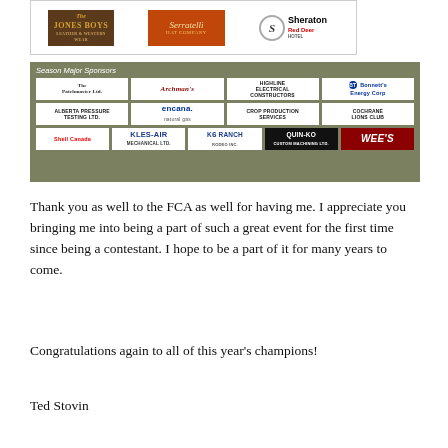[Figure (other): Top strip showing sponsor logos: Jones Boys, Serratelli Hat Company, Sheraton Red Deer Hotel]
[Figure (other): Season Major Sponsors banner with multiple sponsor logos on olive/green background including: The Patchmaster Ltd., Archman's, Highline Electrical Constructors, Bonnett's Energy Corp, Alberta Pressure Testing Ltd., Encana Natural Gas, Crop Production Services, Cochrane Lions Club, Shell Canada, Kles-Air Mechanical Ltd., K6 Ranch, Quin-Ko Custom Machining Ltd., Wee's]
Thank you as well to the FCA as well for having me. I appreciate you bringing me into being a part of such a great event for the first time since being a contestant. I hope to be a part of it for many years to come.
Congratulations again to all of this year’s champions!
Ted Stovin